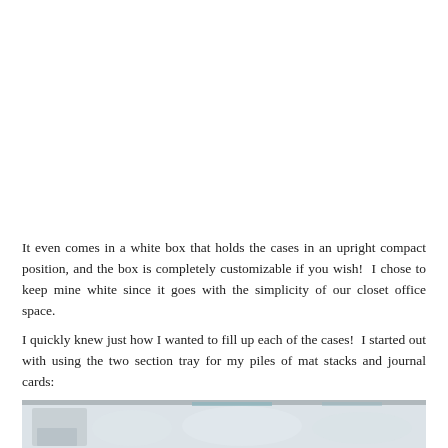It even comes in a white box that holds the cases in an upright compact position, and the box is completely customizable if you wish!  I chose to keep mine white since it goes with the simplicity of our closet office space.
I quickly knew just how I wanted to fill up each of the cases!  I started out with using the two section tray for my piles of mat stacks and journal cards:
[Figure (photo): Bottom portion of a photo showing a blurred light-colored workspace or storage area, partially visible at the bottom of the page.]